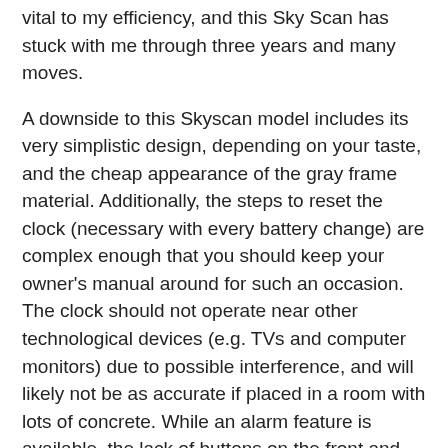vital to my efficiency, and this Sky Scan has stuck with me through three years and many moves.
A downside to this Skyscan model includes its very simplistic design, depending on your taste, and the cheap appearance of the gray frame material. Additionally, the steps to reset the clock (necessary with every battery change) are complex enough that you should keep your owner's manual around for such an occasion. The clock should not operate near other technological devices (e.g. TVs and computer monitors) due to possible interference, and will likely not be as accurate if placed in a room with lots of concrete. While an alarm feature is available, the lack of buttons on the front and their poor labeling mean waking up might be a breeze but turning off your alarm could prove difficult.
Pros